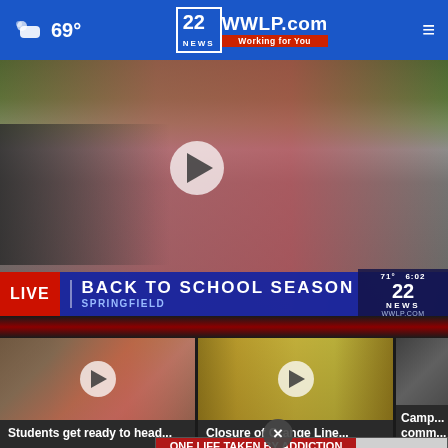69° — 22 WWLP.com — Working for You
[Figure (screenshot): Live news broadcast video thumbnail showing a female reporter in red/pink jacket holding a microphone at an outdoor street scene. Lower third chyron reads: LIVE | BACK TO SCHOOL SEASON | SPRINGFIELD. Corner shows 71° 6:02 with 22 NEWS / WWLP.COM logo. Play button overlay visible.]
[Figure (screenshot): Thumbnail of female reporter outdoors with play button overlay.]
Students get ready to head...
[Figure (screenshot): Thumbnail showing interior of an empty bus or transit vehicle with yellow/golden tones, play button overlay.]
Closure of Orange Line...
[Figure (screenshot): Partially visible third thumbnail.]
Camp... comm...
[Figure (screenshot): Advertisement banner: 'ONE LIFE TAKEN BY ADDICTION IS ONE TOO MANY. HCAT OFFERS SERVICES THAT CAN HELP YOU OR A LOVED ONE IN OVERCOMING SUBSTANCE ABUSE AND MENTAL HEALTH. GET HELP NOW >>' with law enforcement badge logos.]